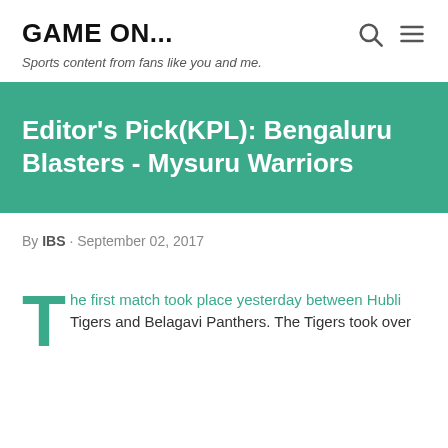GAME ON...
Sports content from fans like you and me.
Editor’s Pick(KPL): Bengaluru Blasters - Mysuru Warriors
By IBS · September 02, 2017
The first match took place yesterday between Hubli Tigers and Belagavi Panthers. The Tigers took over